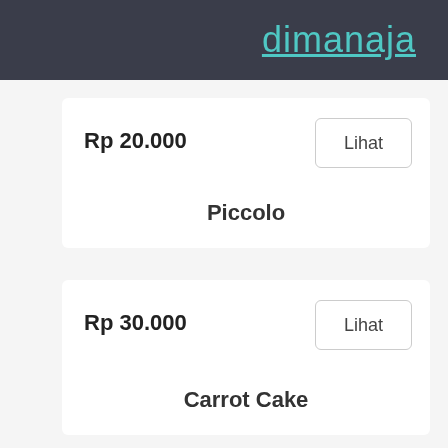dimanaja
Rp 20.000
Lihat
Piccolo
Rp 30.000
Lihat
Carrot Cake